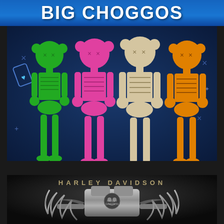BIG CHOGGOS
[Figure (illustration): Four KAWS-style skeleton figures sitting side by side on a dark blue background with decorative X marks and stars. From left to right: green skeleton, pink/magenta skeleton, beige/tan skeleton, and orange/gold skeleton. Each has a round head with X eyes in the KAWS style.]
[Figure (illustration): Harley Davidson branded graphic on dark background featuring a chrome motorcycle engine, skull motif with flames, and the text HARLEY DAVIDSON in spaced capital letters at the top.]